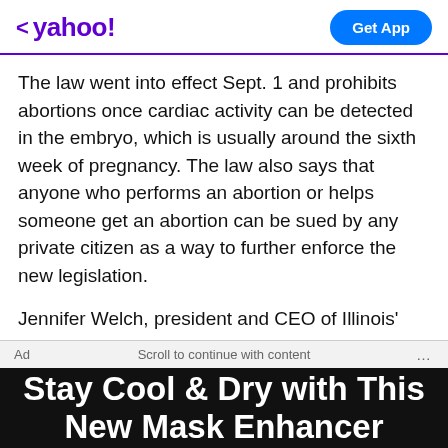< yahoo! | Get App
The law went into effect Sept. 1 and prohibits abortions once cardiac activity can be detected in the embryo, which is usually around the sixth week of pregnancy. The law also says that anyone who performs an abortion or helps someone get an abortion can be sued by any private citizen as a way to further enforce the new legislation.
Jennifer Welch, president and CEO of Illinois' Planned Parenthood, said the group's clinics have been seeing patients from Texas every day since Sept. 3 as abortion in Illinois is legal.
Ad   Scroll to continue with content   ...
Stay Cool & Dry with This New Mask Enhancer